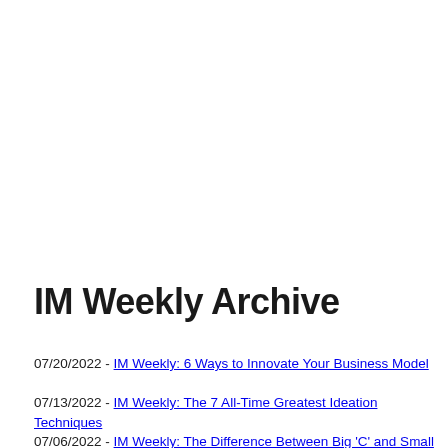IM Weekly Archive
07/20/2022 - IM Weekly: 6 Ways to Innovate Your Business Model
07/13/2022 - IM Weekly: The 7 All-Time Greatest Ideation Techniques
07/06/2022 - IM Weekly: The Difference Between Big 'C' and Small